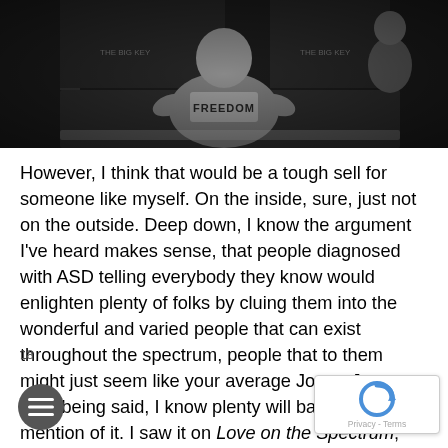[Figure (photo): Black and white photograph showing a person holding up a shirt or sign with the word FREEDOM written on it. A partial figure appears on the right side of the image.]
However, I think that would be a tough sell for someone like myself. On the inside, sure, just not on the outside. Deep down, I know the argument I've heard makes sense, that people diagnosed with ASD telling everybody they know would enlighten plenty of folks by cluing them into the wonderful and varied people that can exist throughout the spectrum, people that to them might just seem like your average Joe or Jane. That being said, I know plenty will balk at the mention of it. I saw it on Love on the Spectrum; one neurotypical guy acted okay with the reveal of her ASD on the first date, only to ghost her. People think of autism as such a death-sentence that they'd rather die of COVID than get a vaccine because one study years ago didn't realize that autism symp also tend to present roughly around the same time as